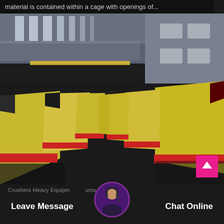material is contained within a cage with openings of...
[Figure (photo): Interior of a large industrial factory/warehouse showing rows of yellow heavy crushing equipment machines lined up along both sides of a wide floor aisle, with a high metal roof with skylights overhead and grey concrete block walls in the background.]
Crushers Heavy Equipment Drums
Leave Message
Chat Online